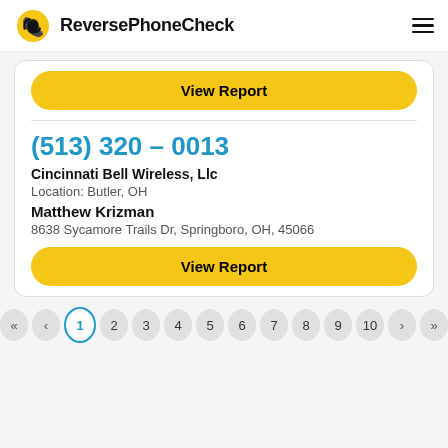ReversePhoneCheck
View Report
(513) 320 – 0013
Cincinnati Bell Wireless, Llc
Location: Butler, OH
Matthew Krizman
8638 Sycamore Trails Dr, Springboro, OH, 45066
View Report
« < 1 2 3 4 5 6 7 8 9 10 > »